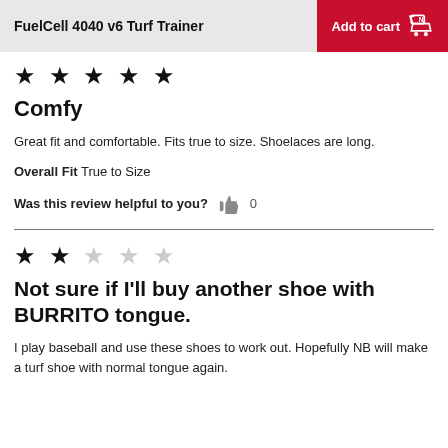FuelCell 4040 v6 Turf Trainer | Add to cart
[Figure (other): Five black filled stars rating]
Comfy
Great fit and comfortable. Fits true to size. Shoelaces are long.
Overall Fit  True to Size
Was this review helpful to you?  0
[Figure (other): Two black filled stars and three gray stars rating (2 out of 5)]
Not sure if I'll buy another shoe with BURRITO tongue.
I play baseball and use these shoes to work out. Hopefully NB will make a turf shoe with normal tongue again.